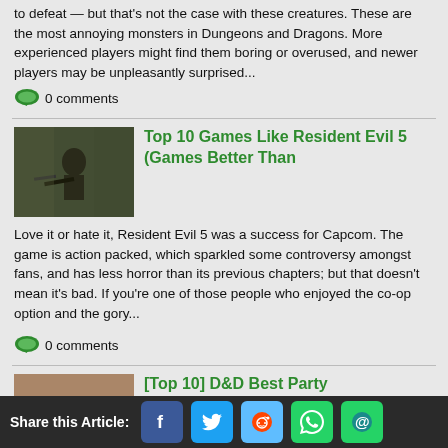to defeat — but that's not the case with these creatures. These are the most annoying monsters in Dungeons and Dragons. More experienced players might find them boring or overused, and newer players may be unpleasantly surprised...
0 comments
Top 10 Games Like Resident Evil 5 (Games Better Than
[Figure (photo): Screenshot from Resident Evil 5 showing characters with guns]
Love it or hate it, Resident Evil 5 was a success for Capcom. The game is action packed, which sparkled some controversy amongst fans, and has less horror than its previous chapters; but that doesn't mean it's bad. If you're one of those people who enjoyed the co-op option and the gory...
0 comments
[Top 10] D&D Best Party Compositions That Are Great
[Figure (photo): Fantasy artwork showing adventurer party]
Share this Article: